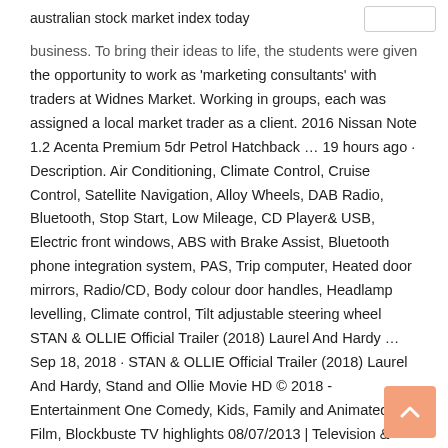australian stock market index today
business. To bring their ideas to life, the students were given the opportunity to work as 'marketing consultants' with traders at Widnes Market. Working in groups, each was assigned a local market trader as a client. 2016 Nissan Note 1.2 Acenta Premium 5dr Petrol Hatchback ... 19 hours ago · Description. Air Conditioning, Climate Control, Cruise Control, Satellite Navigation, Alloy Wheels, DAB Radio, Bluetooth, Stop Start, Low Mileage, CD Player& USB, Electric front windows, ABS with Brake Assist, Bluetooth phone integration system, PAS, Trip computer, Heated door mirrors, Radio/CD, Body colour door handles, Headlamp levelling, Climate control, Tilt adjustable steering wheel STAN & OLLIE Official Trailer (2018) Laurel And Hardy ... Sep 18, 2018 · STAN & OLLIE Official Trailer (2018) Laurel And Hardy, Stand and Ollie Movie HD © 2018 - Entertainment One Comedy, Kids, Family and Animated Film, Blockbuste TV highlights 08/07/2013 | Television & radio | The Guardian Jul 08, 2013 · Drama Launch From 8am, Drama. The recycling of old telly by UKTV goes on with the launch of a new Freeview channel that, as its name suggests, focuses on thespians doing serious